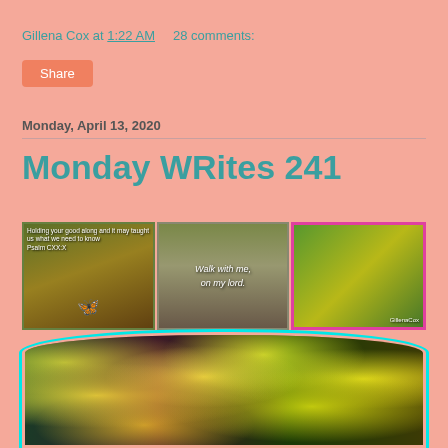Gillena Cox at 1:22 AM   28 comments:
Share
Monday, April 13, 2020
Monday WRites 241
[Figure (photo): Blog post collage: top row has three images (butterflies on orange flowers with psalm text, garden path with text 'Walk with me, on my lord', yellow flowers with colorful border), bottom row shows large close-up of yellow star-shaped flowers with decorative rainbow border.]